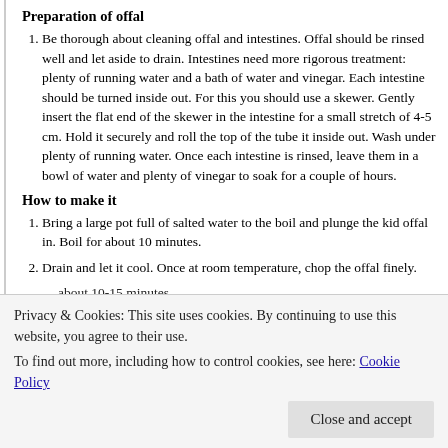Preparation of offal
Be thorough about cleaning offal and intestines. Offal should be rinsed well and let aside to drain. Intestines need more rigorous treatment: plenty of running water and a bath of water and vinegar. Each intestine should be turned inside out. For this you should use a skewer. Gently insert the flat end of the skewer in the intestine for a small stretch of 4-5 cm. Hold it securely and roll the top of the tube it inside out. Wash under plenty of running water. Once each intestine is rinsed, leave them in a bowl of water and plenty of vinegar to soak for a couple of hours.
How to make it
Bring a large pot full of salted water to the boil and plunge the kid offal in. Boil for about 10 minutes.
Drain and let it cool. Once at room temperature, chop the offal finely.
Privacy & Cookies: This site uses cookies. By continuing to use this website, you agree to their use.
To find out more, including how to control cookies, see here: Cookie Policy
Close and accept
about 10-15 minutes.